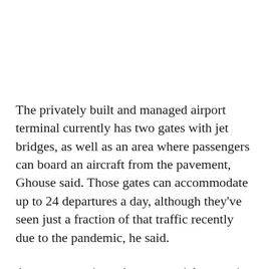The privately built and managed airport terminal currently has two gates with jet bridges, as well as an area where passengers can board an aircraft from the pavement, Ghouse said. Those gates can accommodate up to 24 departures a day, although they've seen just a fraction of that traffic recently due to the pandemic, he said.
Any conversations about potential expansion would involve Propeller Airports, the firm that built Pa[ge] Field's passenger terminal and has run it since [the] first flight left its gates in... [continues]